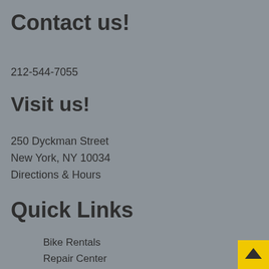Contact us!
212-544-7055
Visit us!
250 Dyckman Street
New York, NY 10034
Directions & Hours
Quick Links
Bike Rentals
Repair Center
Shop Bicycles
NYC Bike Map